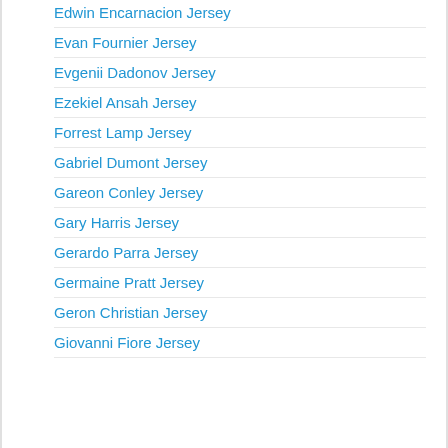Edwin Encarnacion Jersey
Evan Fournier Jersey
Evgenii Dadonov Jersey
Ezekiel Ansah Jersey
Forrest Lamp Jersey
Gabriel Dumont Jersey
Gareon Conley Jersey
Gary Harris Jersey
Gerardo Parra Jersey
Germaine Pratt Jersey
Geron Christian Jersey
Giovanni Fiore Jersey